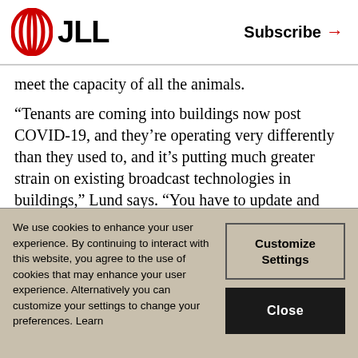JLL | Subscribe →
meet the capacity of all the animals.
“Tenants are coming into buildings now post COVID-19, and they’re operating very differently than they used to, and it’s putting much greater strain on existing broadcast technologies in buildings,” Lund says. “You have to update and expand the entire system to make it capable of handling all those devises.”
We use cookies to enhance your user experience. By continuing to interact with this website, you agree to the use of cookies that may enhance your user experience. Alternatively you can customize your settings to change your preferences. Learn
Customize Settings
Close